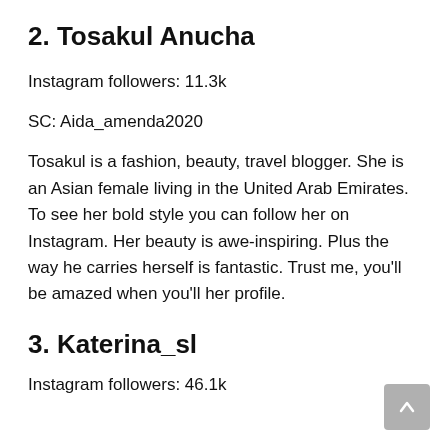2. Tosakul Anucha
Instagram followers: 11.3k
SC: Aida_amenda2020
Tosakul is a fashion, beauty, travel blogger. She is an Asian female living in the United Arab Emirates. To see her bold style you can follow her on Instagram. Her beauty is awe-inspiring. Plus the way he carries herself is fantastic. Trust me, you’ll be amazed when you’ll her profile.
3. Katerina_sl
Instagram followers: 46.1k